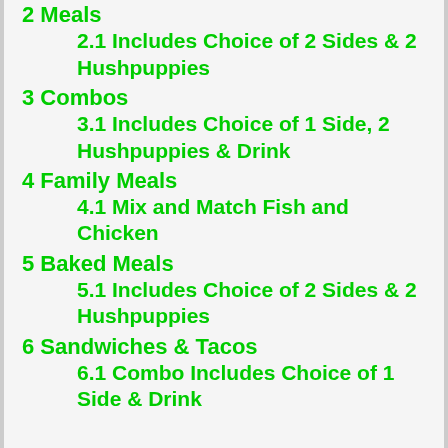2 Meals
2.1 Includes Choice of 2 Sides & 2 Hushpuppies
3 Combos
3.1 Includes Choice of 1 Side, 2 Hushpuppies & Drink
4 Family Meals
4.1 Mix and Match Fish and Chicken
5 Baked Meals
5.1 Includes Choice of 2 Sides & 2 Hushpuppies
6 Sandwiches & Tacos
6.1 Combo Includes Choice of 1 Side & Drink